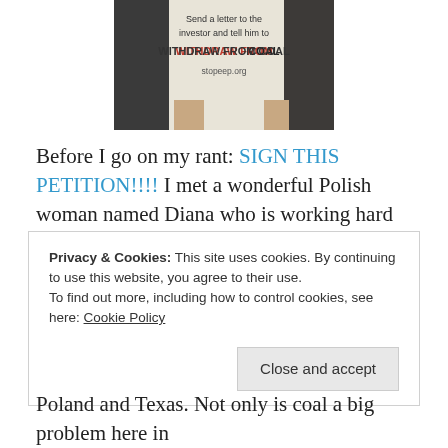[Figure (photo): Person holding a sign that reads 'Send a letter to the investor and tell him to WITHDRAW FROM COAL stopeep.org']
Before I go on my rant: SIGN THIS PETITION!!!! I met a wonderful Polish woman named Diana who is working hard to keep an unnecessary proposed coal plant from being built. The man who owns the proposed coal plant is also the chairman of Green Cross International's BOD and is a member of the Climate Change Task force. What the hell, right?
Privacy & Cookies: This site uses cookies. By continuing to use this website, you agree to their use.
To find out more, including how to control cookies, see here: Cookie Policy
Poland and Texas. Not only is coal a big problem here in